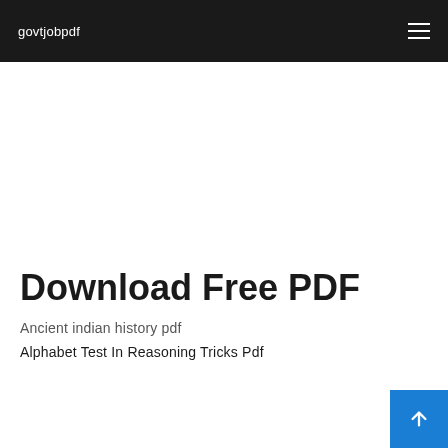govtjobpdf
Download Free PDF
Ancient indian history pdf
Alphabet Test In Reasoning Tricks Pdf